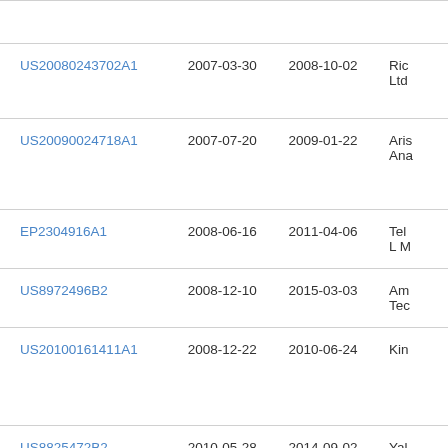| Publication Number | Filing Date | Publication Date | Assignee |
| --- | --- | --- | --- |
| US20080243702A1 | 2007-03-30 | 2008-10-02 | Ric Ltd |
| US20090024718A1 | 2007-07-20 | 2009-01-22 | Aris Ana |
| EP2304916A1 | 2008-06-16 | 2011-04-06 | Tel L M |
| US8972496B2 | 2008-12-10 | 2015-03-03 | Am Tec |
| US20100161411A1 | 2008-12-22 | 2010-06-24 | Kin |
| US8825472B2 | 2010-05-28 | 2014-09-02 | Yal |